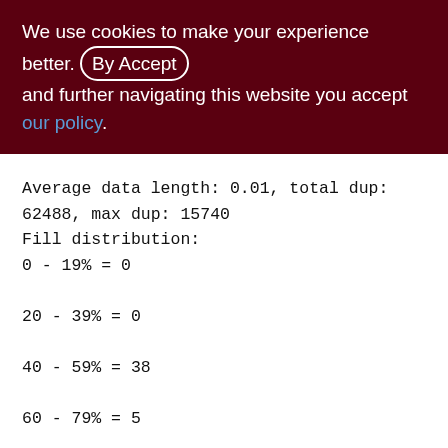We use cookies to make your experience better. By accepting and further navigating this website you accept our policy.
Average data length: 0.01, total dup: 62488, max dup: 15740
Fill distribution:
0 - 19% = 0
20 - 39% = 0
40 - 59% = 38
60 - 79% = 5
80 - 99% = 10
Index PK_DOC_LIST (0)
Depth: 2, leaf buckets: 111, nodes: 62538
Average data length: 6.29, total dup: 0,